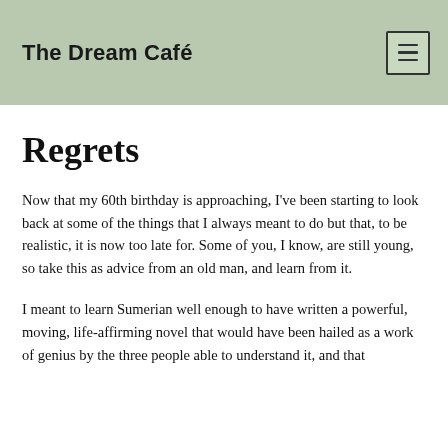The Dream Café
Regrets
Now that my 60th birthday is approaching, I've been starting to look back at some of the things that I always meant to do but that, to be realistic, it is now too late for. Some of you, I know, are still young, so take this as advice from an old man, and learn from it.
I meant to learn Sumerian well enough to have written a powerful, moving, life-affirming novel that would have been hailed as a work of genius by the three people able to understand it, and that